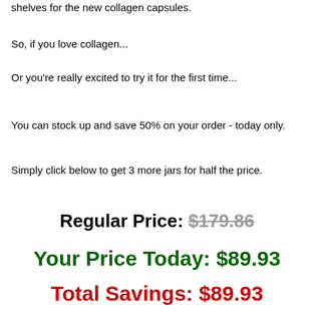And they simply need more room on their shelves for the new collagen capsules.
So, if you love collagen...
Or you're really excited to try it for the first time...
You can stock up and save 50% on your order - today only.
Simply click below to get 3 more jars for half the price.
Regular Price: $179.86
Your Price Today: $89.93
Total Savings: $89.93